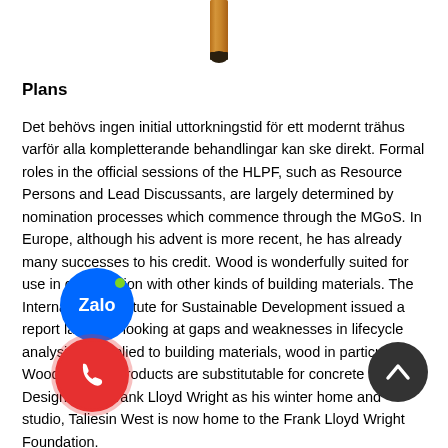[Figure (photo): Partial image at top of page showing what appears to be a wooden stick or pencil tip against a white background]
Plans
Det behövs ingen initial uttorkningstid för ett modernt trähus varför alla kompletterande behandlingar kan ske direkt. Formal roles in the official sessions of the HLPF, such as Resource Persons and Lead Discussants, are largely determined by nomination processes which commence through the MGoS. In Europe, although his advent is more recent, he has already many successes to his credit. Wood is wonderfully suited for use in combination with other kinds of building materials. The International Institute for Sustainable Development issued a report last year looking at gaps and weaknesses in lifecycle analysis as applied to building materials, wood in particular. Wood building products are substitutable for concrete and. Designed by Frank Lloyd Wright as his winter home and studio, Taliesin West is now home to the Frank Lloyd Wright Foundation.